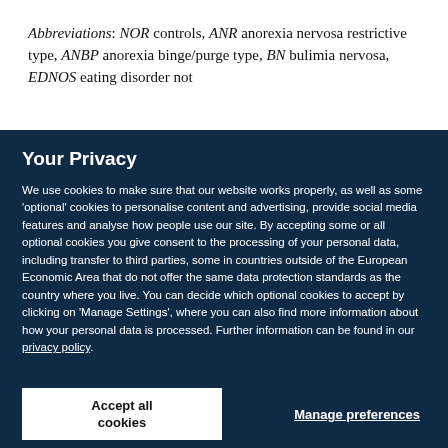Abbreviations: NOR controls, ANR anorexia nervosa restrictive type, ANBP anorexia binge/purge type, BN bulimia nervosa, EDNOS eating disorder not otherwise specified
Your Privacy
We use cookies to make sure that our website works properly, as well as some 'optional' cookies to personalise content and advertising, provide social media features and analyse how people use our site. By accepting some or all optional cookies you give consent to the processing of your personal data, including transfer to third parties, some in countries outside of the European Economic Area that do not offer the same data protection standards as the country where you live. You can decide which optional cookies to accept by clicking on 'Manage Settings', where you can also find more information about how your personal data is processed. Further information can be found in our privacy policy.
Accept all cookies
Manage preferences